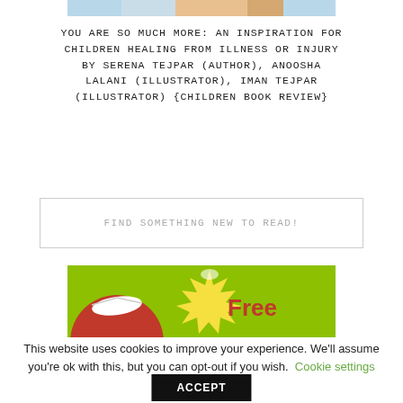[Figure (photo): Top portion of a book cover image — cropped, showing a colorful illustration strip]
YOU ARE SO MUCH MORE: AN INSPIRATION FOR CHILDREN HEALING FROM ILLNESS OR INJURY BY SERENA TEJPAR (AUTHOR), ANOOSHA LALANI (ILLUSTRATOR), IMAN TEJPAR (ILLUSTRATOR) {CHILDREN BOOK REVIEW}
FIND SOMETHING NEW TO READ!
[Figure (illustration): Green promotional banner with red circle, open book graphic, star burst shape, and the word 'Free' in red text]
This website uses cookies to improve your experience. We'll assume you're ok with this, but you can opt-out if you wish.  Cookie settings
ACCEPT